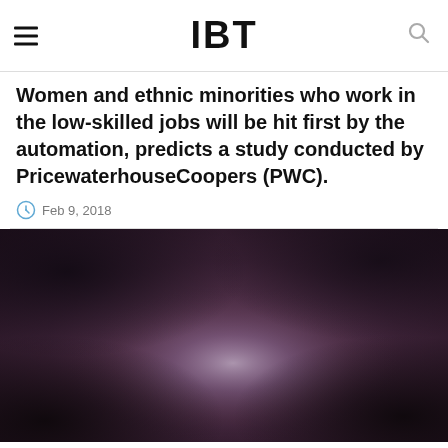IBT
Women and ethnic minorities who work in the low-skilled jobs will be hit first by the automation, predicts a study conducted by PricewaterhouseCoopers (PWC).
Feb 9, 2018
[Figure (photo): Dark blurred background photo with a soft glowing light source in the center-lower area, deep purple and dark tones]